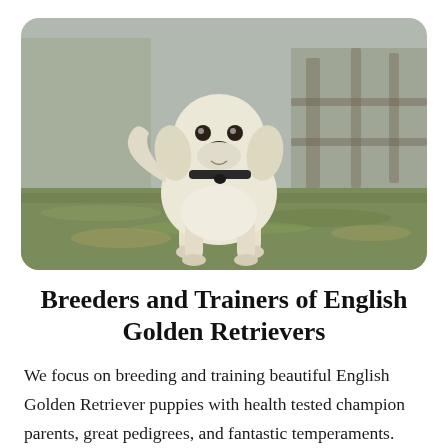[Figure (photo): A white/cream English Golden Retriever puppy standing on grass outdoors, facing the camera, with a blurred background of a fence and trees. The puppy has a dark nose and wears a small dark collar.]
Breeders and Trainers of English Golden Retrievers
We focus on breeding and training beautiful English Golden Retriever puppies with health tested champion parents, great pedigrees, and fantastic temperaments.